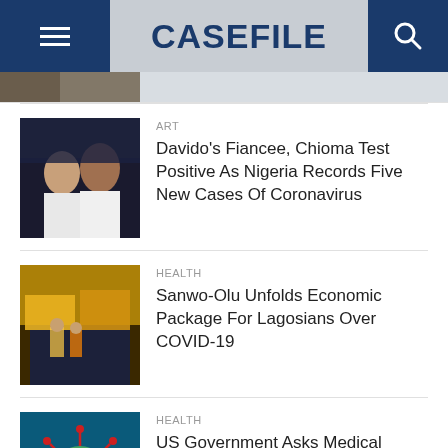CASEFILE
[Figure (photo): Partial top image strip showing cropped photo]
ART
Davido's Fiancee, Chioma Test Positive As Nigeria Records Five New Cases Of Coronavirus
HEALTH
Sanwo-Olu Unfolds Economic Package For Lagosians Over COVID-19
HEALTH
US Government Asks Medical Professionals To Apply For Work Visa
DEFENSE AND SECURITY
Aregbesola Seeks Decongestion Of